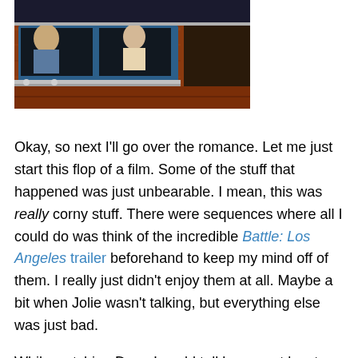[Figure (photo): Photo of people visible through windows of a wooden boat with blue-framed windows and chrome fittings]
Okay, so next I'll go over the romance. Let me just start this flop of a film. Some of the stuff that happened was just unbearable. I mean, this was really corny stuff. There were sequences where all I could do was think of the incredible Battle: Los Angeles trailer beforehand to keep my mind off of them. I really just didn't enjoy them at all. Maybe a bit when Jolie wasn't talking, but everything else was just bad.
While watching Depp I could tell he was at least trying. He's never terrible, but this didn't exactly strengthen my faith in him picking good movies(or his agent, anyway).